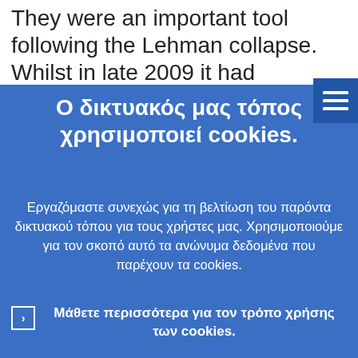They were an important tool following the Lehman collapse. Whilst in late 2009 it had
[Figure (screenshot): Blue menu/hamburger button in top right corner]
Ο δικτυακός μας τόπος χρησιμοποιεί cookies.
Εργαζόμαστε συνεχώς για τη βελτίωση του παρόντα δικτυακού τόπου για τους χρήστες μας. Χρησιμοποιούμε για τον σκοπό αυτό τα ανώνυμα δεδομένα που παρέχουν τα cookies.
Μάθετε περισσότερα για τον τρόπο χρήσης των cookies.
Κατανοώ και αποδέχομαι τη χρήση cookies
Δεν αποδέχομαι τη χρήση cookies